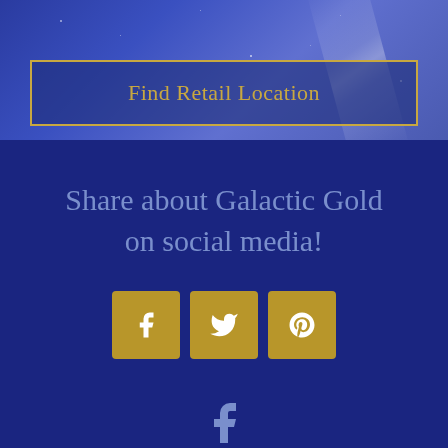[Figure (screenshot): Blue gradient background with light beam and stars, containing a Find Retail Location button with gold border]
Find Retail Location
Share about Galactic Gold on social media!
[Figure (illustration): Three gold square social media buttons: Facebook (f), Twitter (bird), Pinterest (p)]
[Figure (illustration): Large Facebook logo icon in muted blue]
© 2019-2021 Galactic Gold